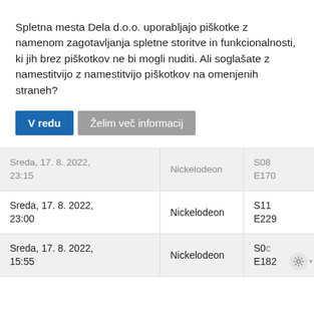Spletna mesta Dela d.o.o. uporabljajo piškotke z namenom zagotavljanja spletne storitve in funkcionalnosti, ki jih brez piškotkov ne bi mogli nuditi. Ali soglašate z namestitvijo z namestitvijo piškotkov na omenjenih straneh?
V redu
Želim več informacij
| Datum/čas | Kanal | Epizoda |
| --- | --- | --- |
| Sreda, 17. 8. 2022, 23:15 | Nickelodeon | S08 E170 |
| Sreda, 17. 8. 2022, 23:00 | Nickelodeon | S11 E229 |
| Sreda, 17. 8. 2022, 15:55 | Nickelodeon | S0? E182 |